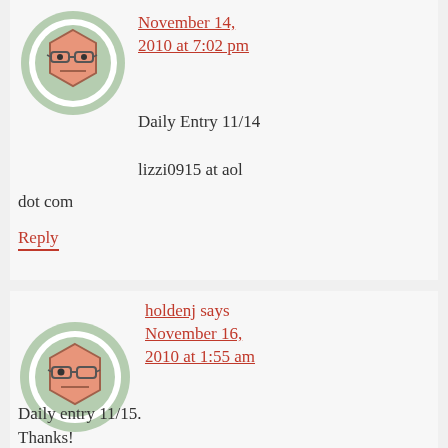[Figure (illustration): Default avatar icon: cartoon face with glasses on green circle background, first comment]
November 14, 2010 at 7:02 pm
Daily Entry 11/14
lizzi0915 at aol dot com
Reply
[Figure (illustration): Default avatar icon: cartoon face with glasses on green circle background, second comment]
holdenj says November 16, 2010 at 1:55 am
Daily entry 11/15. Thanks!